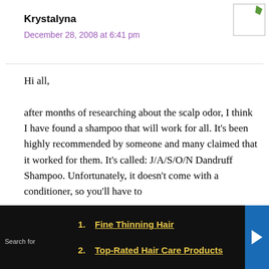Krystalyna
December 28, 2008 at 6:41 pm
Hi all,

after months of researching about the scalp odor, I think I have found a shampoo that will work for all. It's been highly recommended by someone and many claimed that it worked for them. It's called: J/A/S/O/N Dandruff Shampoo. Unfortunately, it doesn't come with a conditioner, so you'll have to
1. Fine Thinning Hair
2. Top-Rated Hair Care Products